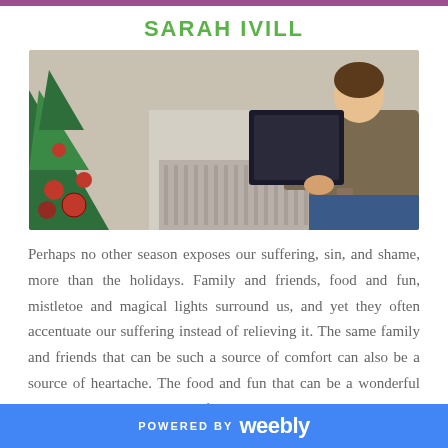SARAH IVILL
[Figure (photo): A person reading a book near a Christmas tree with ornaments and holiday decorations in the background]
Perhaps no other season exposes our suffering, sin, and shame, more than the holidays. Family and friends, food and fun, mistletoe and magical lights surround us, and yet they often accentuate our suffering instead of relieving it. The same family and friends that can be such a source of comfort can also be a source of heartache. The food and fun that can be a wonderful blessing can also remind us of
POWERED BY weebly